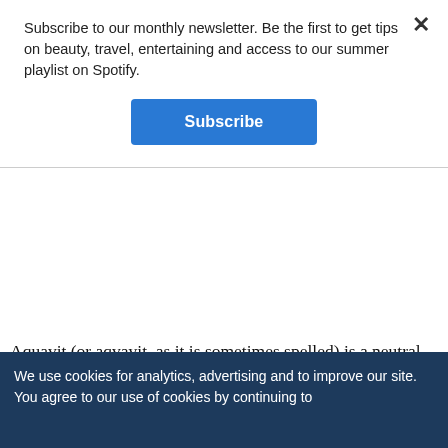Subscribe to our monthly newsletter. Be the first to get tips on beauty, travel, entertaining and access to our summer playlist on Spotify.
Subscribe
Aquavit (or aqvavit, as it is sometimes spelled) is a neutral spirit, made from potatoes or grain like vodka. It is infused with herbs that are typical to Scandinavian cuisine, such as caraway, dill and fennel.  In concept, it is much like gin, a neutral spirit infused with juniper berries and other botanicals. In our minds, Aquavit is more
We use cookies for analytics, advertising and to improve our site. You agree to our use of cookies by continuing to